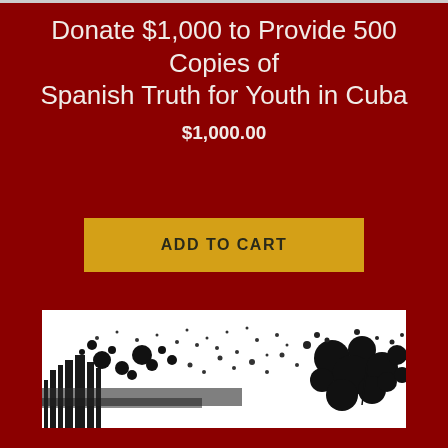Donate $1,000 to Provide 500 Copies of Spanish Truth for Youth in Cuba
$1,000.00
ADD TO CART
[Figure (photo): Black and white artistic/ink splatter image showing a cityscape silhouette with dark ink blots and splashes against a white background, with a dark red strip at the bottom]